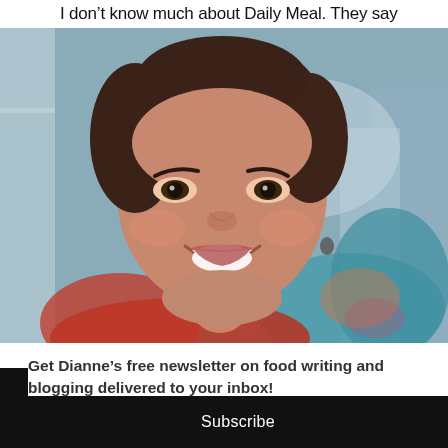I don’t know much about Daily Meal. They say
[Figure (photo): Portrait photo of a smiling middle-aged woman with dark hair, wearing a colorful scarf and red top, photographed outdoors with a blurred background.]
Get Dianne’s free newsletter on food writing and blogging delivered to your inbox!
Subscribe